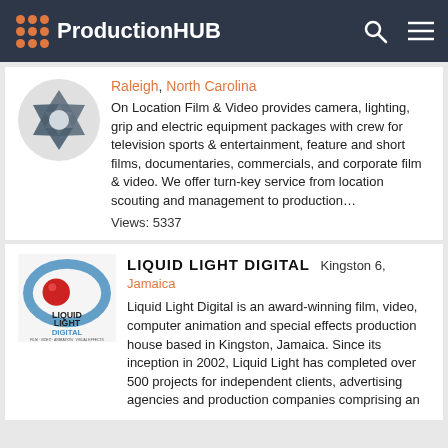ProductionHUB
[Figure (logo): Camera aperture/lens logo icon in dark blue/grey tones]
Raleigh, North Carolina
On Location Film & Video provides camera, lighting, grip and electric equipment packages with crew for television sports & entertainment, feature and short films, documentaries, commercials, and corporate film & video. We offer turn-key service from location scouting and management to production...
Views: 5337
LIQUID LIGHT DIGITAL
Kingston 6, Jamaica
[Figure (logo): Liquid Light Digital logo with red circle and blue swoosh elements, text reads LIQUID LIGHT DIGITAL FILM · VIDEO · ANIMATION · VISUAL EFFECTS]
Liquid Light Digital is an award-winning film, video, computer animation and special effects production house based in Kingston, Jamaica. Since its inception in 2002, Liquid Light has completed over 500 projects for independent clients, advertising agencies and production companies comprising an